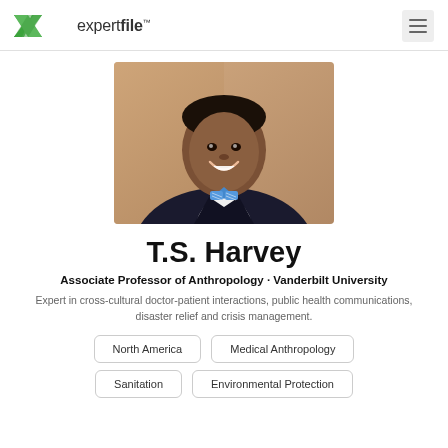expertfile™
[Figure (photo): Headshot of T.S. Harvey, a man in a dark blazer and blue striped bow tie, smiling, with a warm background.]
T.S. Harvey
Associate Professor of Anthropology · Vanderbilt University
Expert in cross-cultural doctor-patient interactions, public health communications, disaster relief and crisis management.
North America
Medical Anthropology
Sanitation
Environmental Protection